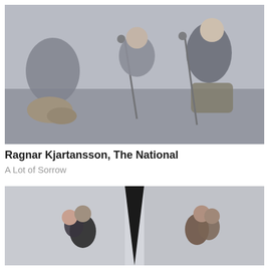[Figure (photo): Band performing on stage in hazy/smoky atmosphere. Multiple musicians visible including drummer, guitarist, and vocalist singing into microphone.]
Ragnar Kjartansson, The National
A Lot of Sorrow
[Figure (photo): Two side-by-side images showing couples embracing against a light grey background with dark corner visible between them.]